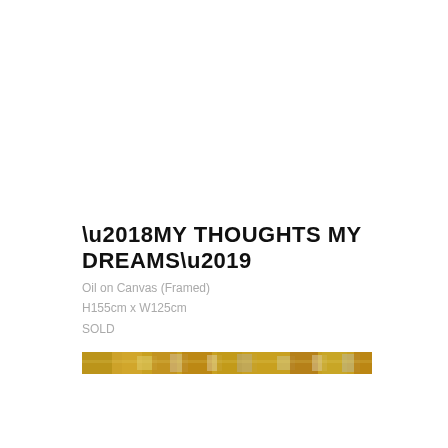‘MY THOUGHTS MY DREAMS’
Oil on Canvas (Framed)
H155cm x W125cm
SOLD
[Figure (photo): A narrow horizontal strip showing a cropped portion of an oil painting with golden, amber, and muted purple/white swirling brushstrokes.]